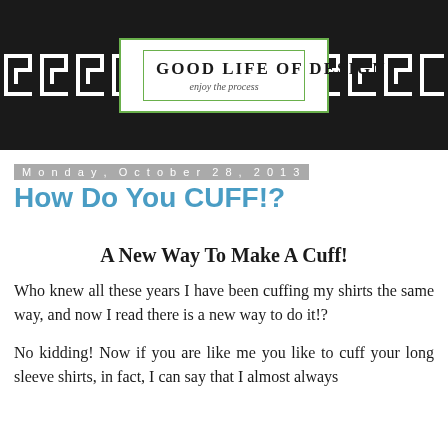[Figure (logo): Good Life of Design blog header banner with Greek key pattern on black background and white logo box with green border in center reading 'GOOD LIFE OF DESIGN enjoy the process']
Monday, October 28, 2013
How Do You CUFF!?
A New Way To Make A Cuff!
Who knew all these years I have been cuffing my shirts the same way, and now I read there is a new way to do it!?
No kidding! Now if you are like me you like to cuff your long sleeve shirts, in fact, I can say that I almost always